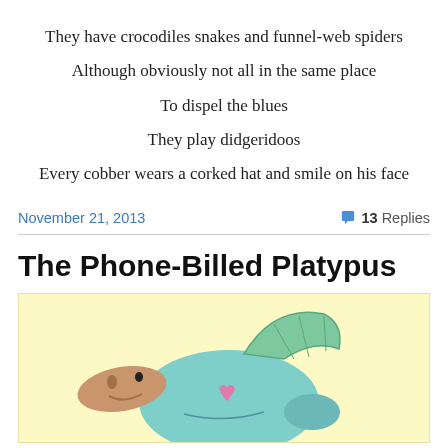They have crocodiles snakes and funnel-web spiders
Although obviously not all in the same place
To dispel the blues
They play didgeridoos
Every cobber wears a corked hat and smile on his face
November 21, 2013
13 Replies
The Phone-Billed Platypus
[Figure (illustration): Cartoon illustration of a platypus on a yellow background, showing the animal's bill and teal/blue body with green webbed fin raised, and pink details.]